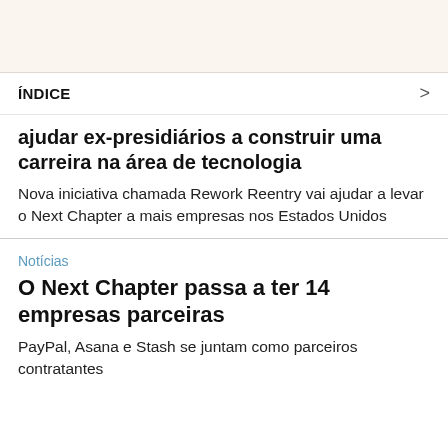[Figure (other): Top banner with light beige/cream background]
ÍNDICE
ajudar ex-presidiários a construir uma carreira na área de tecnologia
Nova iniciativa chamada Rework Reentry vai ajudar a levar o Next Chapter a mais empresas nos Estados Unidos
Notícias
O Next Chapter passa a ter 14 empresas parceiras
PayPal, Asana e Stash se juntam como parceiros contratantes